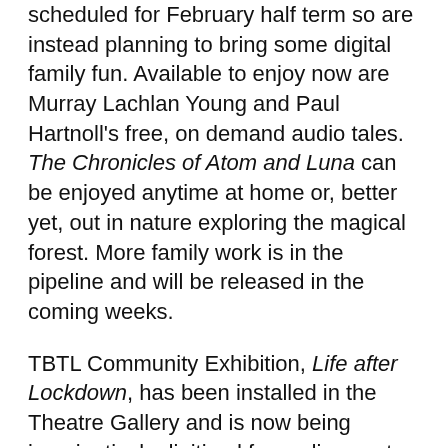scheduled for February half term so are instead planning to bring some digital family fun. Available to enjoy now are Murray Lachlan Young and Paul Hartnoll's free, on demand audio tales. The Chronicles of Atom and Luna can be enjoyed anytime at home or, better yet, out in nature exploring the magical forest. More family work is in the pipeline and will be released in the coming weeks.
TBTL Community Exhibition, Life after Lockdown, has been installed in the Theatre Gallery and is now being imaginatively digitised for audiences to experience from mid-March. The exhibition, curated by Cumbrian artists Louie Whitemore and Mark Melville, is made up of artwork created by local communities reflecting on 2020, looking forward to the future and starting conversations about people's hopes for life after lockdown.
Looking further ahead, the Theatre continues to